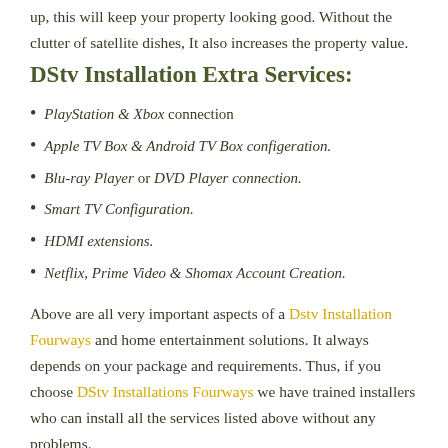up, this will keep your property looking good. Without the clutter of satellite dishes, It also increases the property value.
DStv Installation Extra Services:
PlayStation & Xbox connection
Apple TV Box & Android TV Box configeration.
Blu-ray Player or DVD Player connection.
Smart TV Configuration.
HDMI extensions.
Netflix, Prime Video & Shomax Account Creation.
Above are all very important aspects of a Dstv Installation Fourways and home entertainment solutions. It always depends on your package and requirements. Thus, if you choose DStv Installations Fourways we have trained installers who can install all the services listed above without any problems.